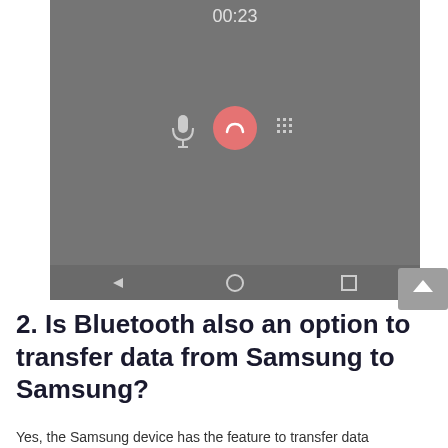[Figure (screenshot): Android phone screen showing an active call interface with timer 00:23, a pink/red end-call button in the center, a microphone icon to the left, a keypad icon to the right, and Android navigation bar (back, home, recents) at the bottom. Dark gray background.]
2. Is Bluetooth also an option to transfer data from Samsung to Samsung?
Yes, the Samsung device has the feature to transfer data